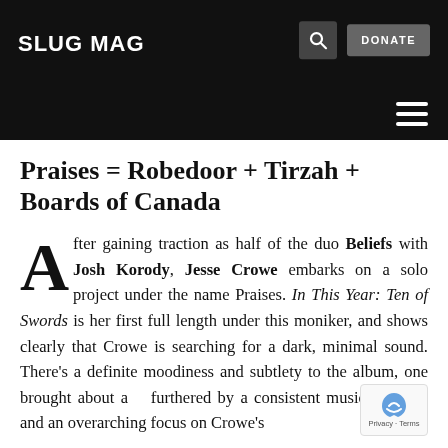SLUG MAG
Praises = Robedoor + Tirzah + Boards of Canada
After gaining traction as half of the duo Beliefs with Josh Korody, Jesse Crowe embarks on a solo project under the name Praises. In This Year: Ten of Swords is her first full length under this moniker, and shows clearly that Crowe is searching for a dark, minimal sound. There’s a definite moodiness and subtlety to the album, one brought about and furthered by a consistent musical palette and an overarching focus on Crowe’s